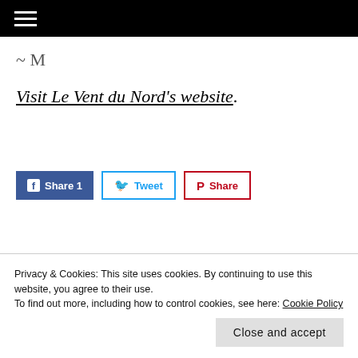≡
~ M
Visit Le Vent du Nord's website.
[Figure (screenshot): Social sharing buttons: Facebook Share 1, Tweet, Pinterest Share]
Privacy & Cookies: This site uses cookies. By continuing to use this website, you agree to their use.
To find out more, including how to control cookies, see here: Cookie Policy
Close and accept